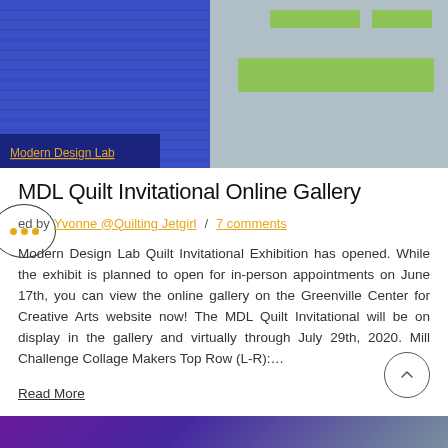[Figure (screenshot): Website banner with dark blue left panel showing diagonal stripes and a 'Modern Design Lab' link label, and a gray-blue right panel with green rectangles overlaid.]
MDL Quilt Invitational Online Gallery
ed by Yvonne @Quilting Jetgirl / 7 comments
Modern Design Lab Quilt Invitational Exhibition has opened. While the exhibit is planned to open for in-person appointments on June 17th, you can view the online gallery on the Greenville Center for Creative Arts website now! The MDL Quilt Invitational will be on display in the gallery and virtually through July 29th, 2020. Mill Challenge Collage Makers Top Row (L-R):…
Read More
[Figure (photo): Bottom strip showing a purple and gray patterned quilt or fabric image.]